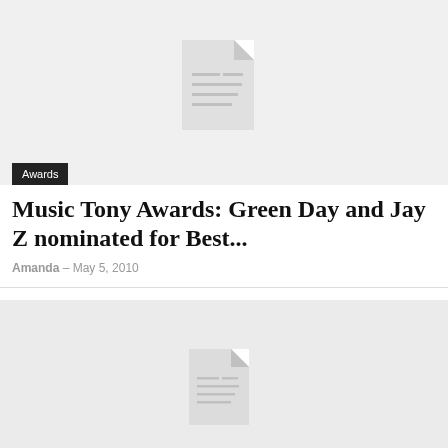[Figure (illustration): Placeholder document icon on light grey background]
Awards
Music Tony Awards: Green Day and Jay Z nominated for Best...
Amanda – May 5, 2010
[Figure (illustration): Placeholder document icon on light grey background (second card)]